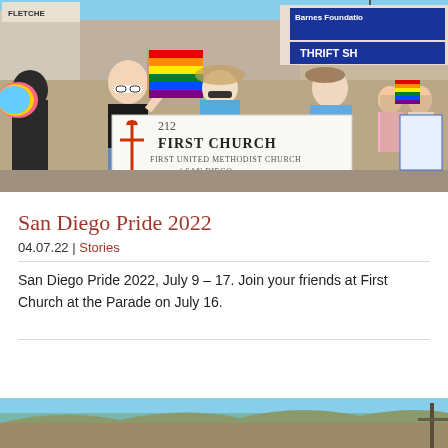[Figure (photo): Pride parade photo showing participants marching with a rainbow flag and a First United Methodist Church of San Diego banner (number 212). Storefront signs including Barnes Foundation Thrift Shop visible in background.]
San Diego Pride 2022
04.07.22 | Stories
San Diego Pride 2022, July 9 – 17. Join your friends at First Church at the Parade on July 16.
[Figure (photo): Partial outdoor landscape photo at bottom of page, partially cut off.]